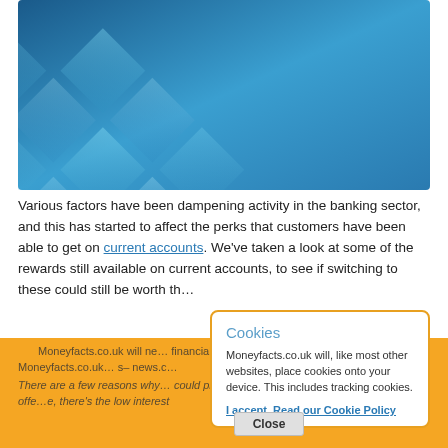[Figure (illustration): Abstract blue geometric diamond/square pattern background image]
Various factors have been dampening activity in the banking sector, and this has started to affect the perks that customers have been able to get on current accounts. We've taken a look at some of the rewards still available on current accounts, to see if switching to these could still be worth th…
Moneyfacts.co.uk will ne… financial product. Any calls… sent by Moneyfacts.co.uk… news.c…
There are a few reasons why… could provide check but shrinking the rewards they offe…e, there's the low interest
Cookies
Moneyfacts.co.uk will, like most other websites, place cookies onto your device. This includes tracking cookies.
I accept. Read our Cookie Policy
Close